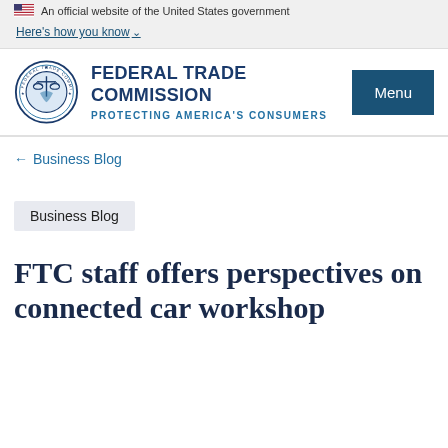An official website of the United States government
Here's how you know
[Figure (logo): Federal Trade Commission seal and wordmark with tagline PROTECTING AMERICA'S CONSUMERS and Menu button]
← Business Blog
Business Blog
FTC staff offers perspectives on connected car workshop